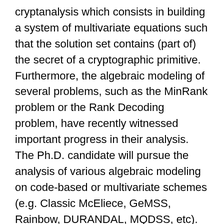cryptanalysis which consists in building a system of multivariate equations such that the solution set contains (part of) the secret of a cryptographic primitive. Furthermore, the algebraic modeling of several problems, such as the MinRank problem or the Rank Decoding problem, have recently witnessed important progress in their analysis. The Ph.D. candidate will pursue the analysis of various algebraic modeling on code-based or multivariate schemes (e.g. Classic McEliece, GeMSS, Rainbow, DURANDAL, MQDSS, etc).
Description
The candidate is expected to have a strong background in mathematics, computer algebra, in particular in polynomial system solving (e.g. Gröbner basis algorithms), and cryptography. She/he must have